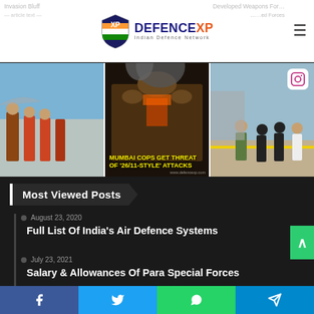DEFENCEXP — Indian Defence Network
[Figure (photo): Three photos in a horizontal strip: Indian Air Force pilots walking on tarmac with jet; Mumbai Taj Hotel on fire with overlay text 'MUMBAI COPS GET THREAT OF 26/11-STYLE ATTACKS'; Naval officers walking on aircraft carrier deck with Instagram icon overlay]
Most Viewed Posts
August 23, 2020
Full List Of India's Air Defence Systems
July 23, 2021
Salary & Allowances Of Para Special Forces